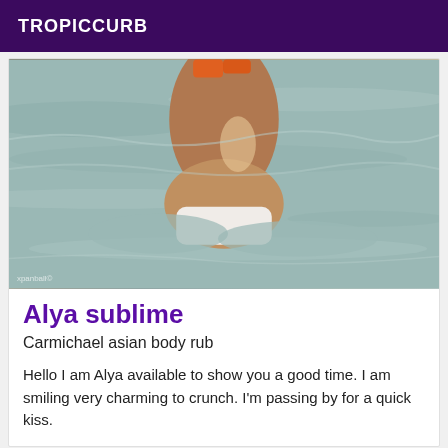TROPICCURB
[Figure (photo): Person standing in shallow water, body partially submerged, water surface visible with ripples and light reflections. Watermark text visible in lower left corner.]
Alya sublime
Carmichael asian body rub
Hello I am Alya available to show you a good time. I am smiling very charming to crunch. I'm passing by for a quick kiss.
[Figure (photo): Partial second listing image, golden/yellow tones, cropped at bottom of page.]